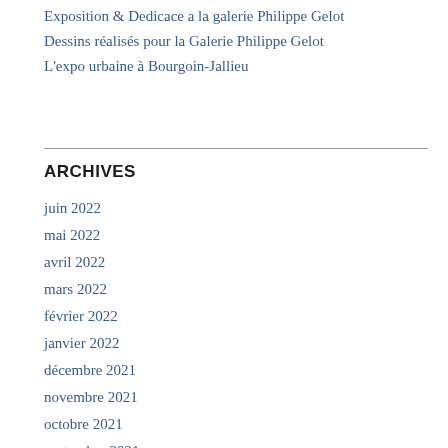Exposition & Dedicace a la galerie Philippe Gelot
Dessins réalisés pour la Galerie Philippe Gelot
L'expo urbaine à Bourgoin-Jallieu
ARCHIVES
juin 2022
mai 2022
avril 2022
mars 2022
février 2022
janvier 2022
décembre 2021
novembre 2021
octobre 2021
septembre 2021
août 2021